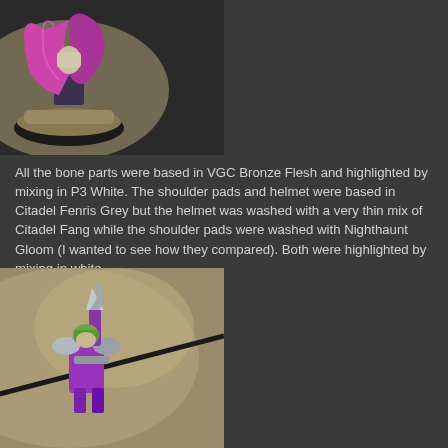[Figure (photo): Painted miniature figure with a purple/magenta flowing cloak on a textured base, photographed against a dark grey background. The base has sandy/rocky terrain texture.]
All the bone parts were based in VGC Bronze Flesh and highlighted by mixing in P3 White. The shoulder pads and helmet were based in Citadel Fenris Grey but the helmet was washed with a very thin mix of Citadel Fang while the shoulder pads were washed with Nighthaunt Gloom (I wanted to see how they compared). Both were highlighted by mixing in white.
[Figure (photo): Painted miniature figure detail showing a character with a green helmet, purple robes, silver/grey shoulder pads and armour, holding a long staff or pole weapon. Photographed against a blurred beige/khaki background.]